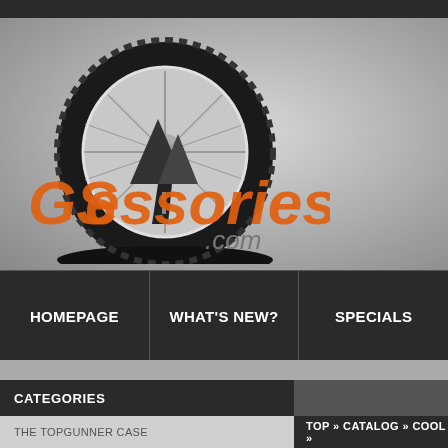[Figure (logo): GSessories.com logo featuring a motorcycle tire/wheel with mountain road imagery and orange italic text reading 'GSessories' with '.com' in gray]
HOMEPAGE
WHAT'S NEW?
SPECIALS
CATEGORIES
THE TOPGUNNER CASE
TOP » CATALOG » COOL »